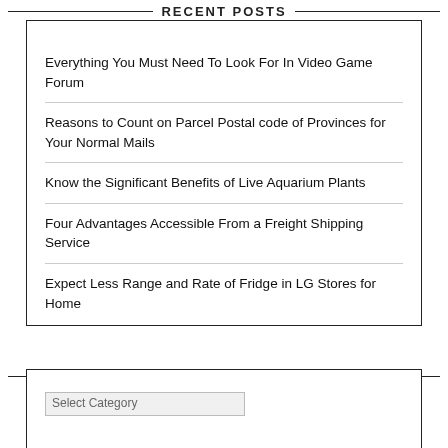RECENT POSTS
Everything You Must Need To Look For In Video Game Forum
Reasons to Count on Parcel Postal code of Provinces for Your Normal Mails
Know the Significant Benefits of Live Aquarium Plants
Four Advantages Accessible From a Freight Shipping Service
Expect Less Range and Rate of Fridge in LG Stores for Home
CATEGORIES